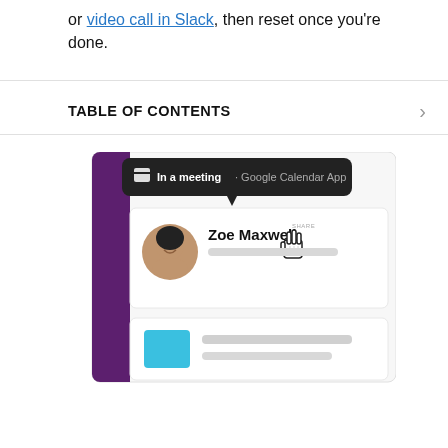or video call in Slack, then reset once you're done.
TABLE OF CONTENTS
[Figure (screenshot): Screenshot of a Slack status UI showing a tooltip with 'In a meeting · Google Calendar App', and a user profile card for 'Zoe Maxwell' with a cursor pointing at her name. Below is another list item with a teal/cyan square avatar and gray placeholder bars.]